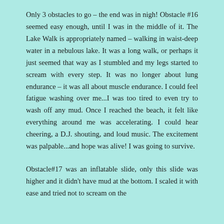Only 3 obstacles to go – the end was in nigh! Obstacle #16 seemed easy enough, until I was in the middle of it. The Lake Walk is appropriately named – walking in waist-deep water in a nebulous lake. It was a long walk, or perhaps it just seemed that way as I stumbled and my legs started to scream with every step. It was no longer about lung endurance – it was all about muscle endurance. I could feel fatigue washing over me...I was too tired to even try to wash off any mud. Once I reached the beach, it felt like everything around me was accelerating. I could hear cheering, a D.J. shouting, and loud music. The excitement was palpable...and hope was alive! I was going to survive.
Obstacle#17 was an inflatable slide, only this slide was higher and it didn't have mud at the bottom. I scaled it with ease and tried not to scream on the